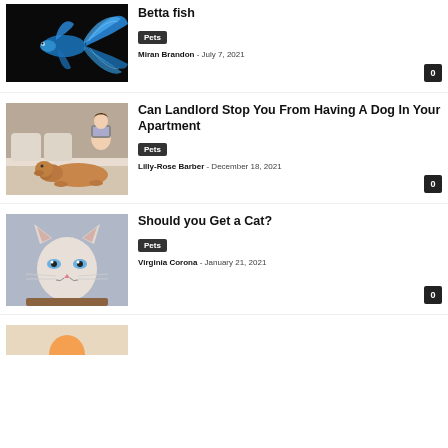[Figure (photo): Blue betta fish with flowing fins on black background]
Betta fish
Pets
Miran Brandon - July 7, 2021
[Figure (photo): Woman with laptop on bed next to a resting golden dog]
Can Landlord Stop You From Having A Dog In Your Apartment
Pets
Lilly-Rose Barber - December 18, 2021
[Figure (photo): White kitten looking up with blue eyes]
Should you Get a Cat?
Pets
Virginia Corona - January 21, 2021